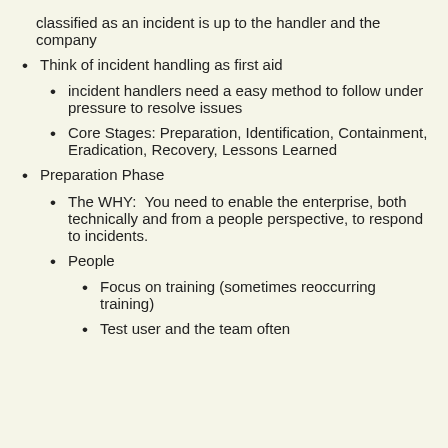classified as an incident is up to the handler and the company
Think of incident handling as first aid
incident handlers need a easy method to follow under pressure to resolve issues
Core Stages: Preparation, Identification, Containment, Eradication, Recovery, Lessons Learned
Preparation Phase
The WHY:  You need to enable the enterprise, both technically and from a people perspective, to respond to incidents.
People
Focus on training (sometimes reoccurring training)
Test user and the team often